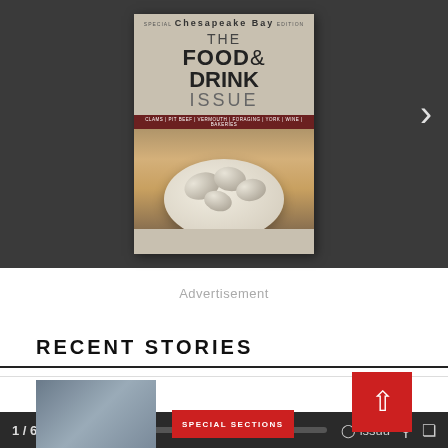[Figure (screenshot): Issuu magazine viewer showing the cover of 'The Food & Drink Issue' - Chesapeake Bay Special Edition, with navigation arrow, page counter '1 / 65', progress bar, and Issuu toolbar icons]
Advertisement
RECENT STORIES
[Figure (photo): Small thumbnail photo at bottom left, showing a grayish outdoor scene]
SPECIAL SECTIONS